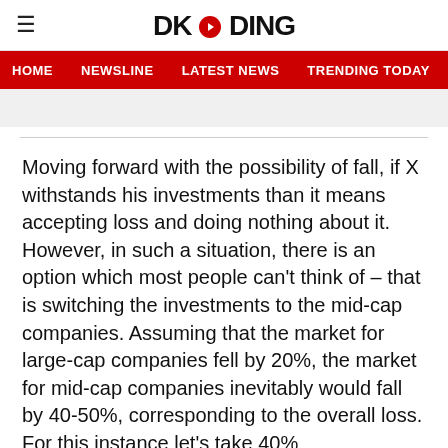DKODING
HOME   NEWSLINE   LATEST NEWS   TRENDING TODAY   ENT
Moving forward with the possibility of fall, if X withstands his investments than it means accepting loss and doing nothing about it. However, in such a situation, there is an option which most people can't think of – that is switching the investments to the mid-cap companies. Assuming that the market for large-cap companies fell by 20%, the market for mid-cap companies inevitably would fall by 40-50%, corresponding to the overall loss. For this instance let's take 40%